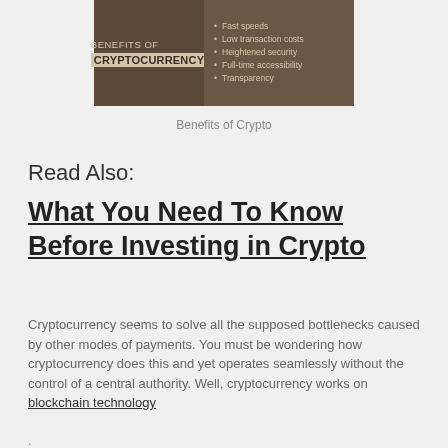[Figure (infographic): Infographic: 'Benefits of Cryptocurrency' with brown background, listing: Fast speeds, Low transaction costs, Heightened security, Full-time accessibility, Transparency]
Benefits of Crypto
Read Also:
What You Need To Know Before Investing in Crypto
Cryptocurrency seems to solve all the supposed bottlenecks caused by other modes of payments. You must be wondering how cryptocurrency does this and yet operates seamlessly without the control of a central authority. Well, cryptocurrency works on blockchain technology .